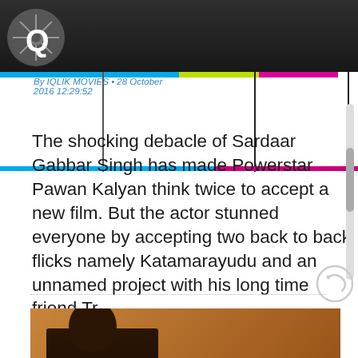[Figure (screenshot): Dark header bar with Q logo (film reel style)]
By IQLIK MOVIES • 28 October 2016 12:29:52
The shocking debacle of Sardaar Gabbar Singh has made Powerstar Pawan Kalyan think twice to accept a new film. But the actor stunned everyone by accepting two back to back flicks namely Katamarayudu and an unnamed project with his long time friend Tr...
[Figure (photo): Thumbnail image showing a person in dark clothing with text overlay reading PAWAN రూట్లో..]